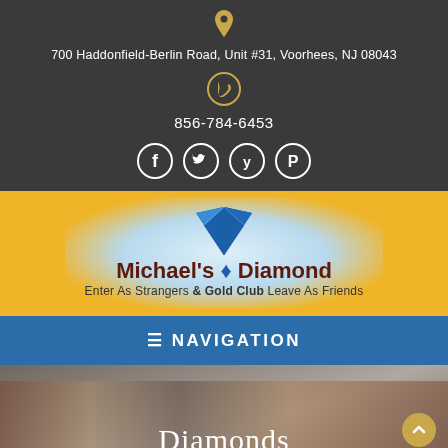700 Haddonfield-Berlin Road, Unit #31, Voorhees, NJ 08043
856-784-6453
[Figure (logo): Social media icons: Facebook, Twitter, Yelp, Pinterest - white circles on dark background]
[Figure (logo): Michael's Diamond & Gold Club logo with diamond graphic, tagline: Enter As Strangers Leave As Friends]
≡ NAVIGATION
Diamonds